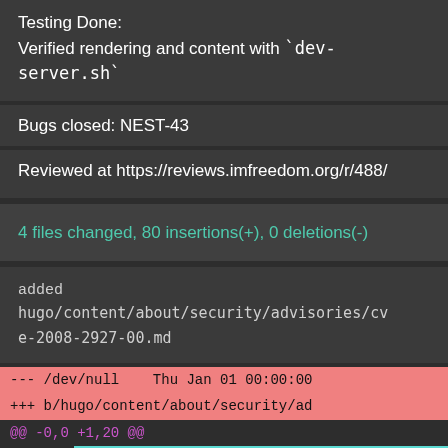Testing Done:
Verified rendering and content with `dev-server.sh`
Bugs closed: NEST-43
Reviewed at https://reviews.imfreedom.org/r/488/
4 files changed, 80 insertions(+), 0 deletions(-)
added
hugo/content/about/security/advisories/cve-2008-2927-00.md
--- /dev/null    Thu Jan 01 00:00:00
+++ b/hugo/content/about/security/ad
@@ -0,0 +1,20 @@
1  +---
2  +title: cve-2008-2927-00
3  +date: 2008-07-01T00:00:00.000Z